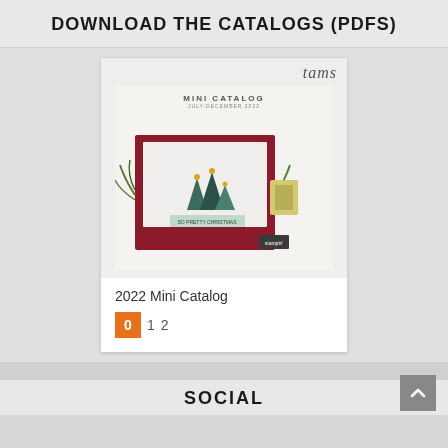DOWNLOAD THE CATALOGS (PDFS)
[Figure (photo): Cover image of a 2022 Mini Catalog featuring Christmas trees made of paper craft on a red background with pine branches decoration, with 'tams' logo watermark in top right corner]
2022 Mini Catalog
0  1  2
SOCIAL